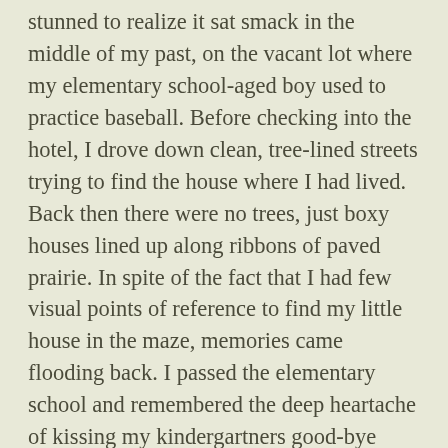stunned to realize it sat smack in the middle of my past, on the vacant lot where my elementary school-aged boy used to practice baseball. Before checking into the hotel, I drove down clean, tree-lined streets trying to find the house where I had lived. Back then there were no trees, just boxy houses lined up along ribbons of paved prairie. In spite of the fact that I had few visual points of reference to find my little house in the maze, memories came flooding back. I passed the elementary school and remembered the deep heartache of kissing my kindergartners good-bye before they bounced out of the car. It was to be the first of many letting-go lessons that all parents have to master sooner or later. Had I really lived those elusive and far away days of diapers and crayons, ballet lessons and baseball practice? Drivers' Ed and prom dresses?